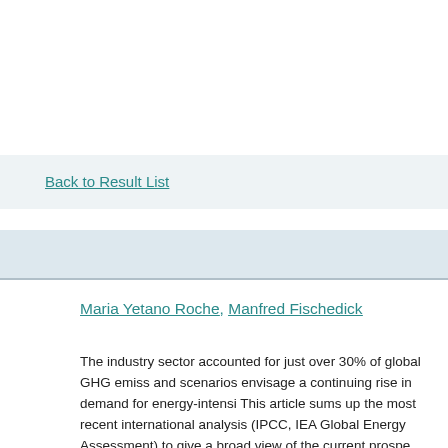Back to Result List
Maria Yetano Roche, Manfred Fischedick
The industry sector accounted for just over 30% of global GHG emiss and scenarios envisage a continuing rise in demand for energy-intensi This article sums up the most recent international analysis (IPCC, IEA Global Energy Assessment) to give a broad view of the current prospe reducing GHG emissions in industry. It does so from a global perspec complementing where necessary where regional and sector-specific ca The article addresses the portfolio of options available, their technical economic potentials, the experience in the use of policy instruments i